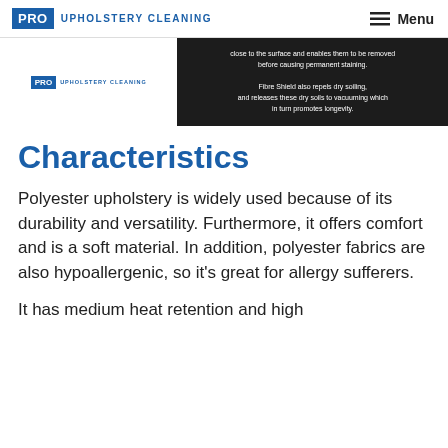PRO UPHOLSTERY CLEANING   Menu
[Figure (screenshot): Dark promotional image for Pro Upholstery Cleaning showing text about Fibre Shield repelling dry soiling and promoting longevity, with a logo overlay on the left side.]
Characteristics
Polyester upholstery is widely used because of its durability and versatility. Furthermore, it offers comfort and is a soft material. In addition, polyester fabrics are also hypoallergenic, so it's great for allergy sufferers.
It has medium heat retention and high